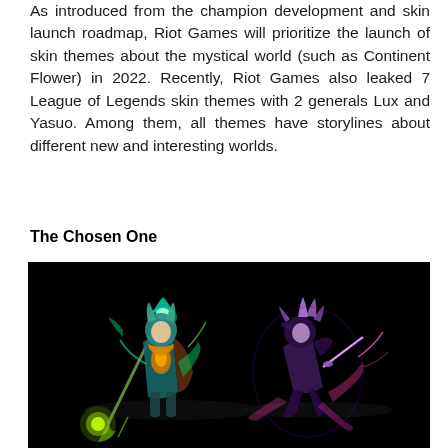As introduced from the champion development and skin launch roadmap, Riot Games will prioritize the launch of skin themes about the mystical world (such as Continent Flower) in 2022. Recently, Riot Games also leaked 7 League of Legends skin themes with 2 generals Lux and Yasuo. Among them, all themes have storylines about different new and interesting worlds.
The Chosen One
[Figure (illustration): Two League of Legends characters on a dark black background. Left character appears to be Lux wearing teal/green and orange armor with glowing green energy effects and a staff. Right character appears to be Yasuo in dark purple/violet armor with pink energy effects and a sword, in a crouching pose.]